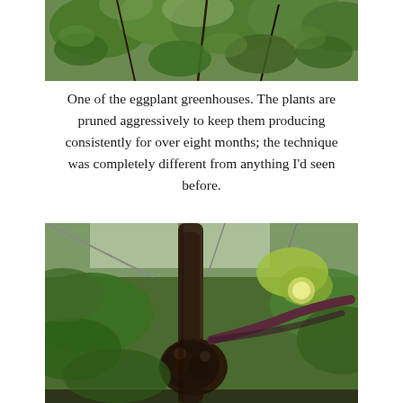[Figure (photo): Aerial view of eggplant greenhouse with green leafy plants visible from above]
One of the eggplant greenhouses. The plants are pruned aggressively to keep them producing consistently for over eight months; the technique was completely different from anything I’d seen before.
[Figure (photo): Close-up of an eggplant stem/trunk showing the pruned woody base of a plant inside a greenhouse with large green leaves visible]